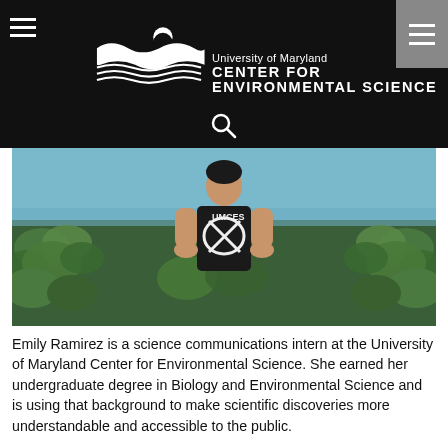University of Maryland Center for Environmental Science
[Figure (photo): Person standing outdoors among mangrove plants near water, wearing a dark t-shirt with a logo]
Emily Ramirez is a science communications intern at the University of Maryland Center for Environmental Science. She earned her undergraduate degree in Biology and Environmental Science and is using that background to make scientific discoveries more understandable and accessible to the public.